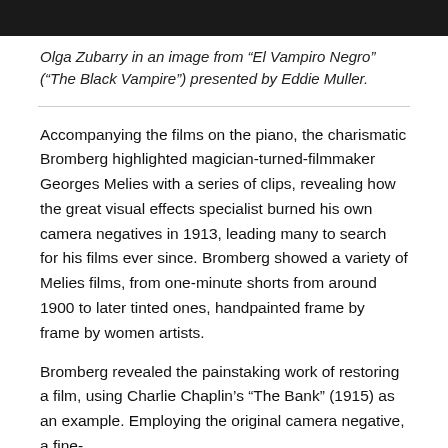[Figure (photo): Black and white film still at top of page, partially cropped]
Olga Zubarry in an image from “El Vampiro Negro” (“The Black Vampire”) presented by Eddie Muller.
Accompanying the films on the piano, the charismatic Bromberg highlighted magician-turned-filmmaker Georges Melies with a series of clips, revealing how the great visual effects specialist burned his own camera negatives in 1913, leading many to search for his films ever since. Bromberg showed a variety of Melies films, from one-minute shorts from around 1900 to later tinted ones, handpainted frame by frame by women artists.
Bromberg revealed the painstaking work of restoring a film, using Charlie Chaplin’s “The Bank” (1915) as an example. Employing the original camera negative, a fine-